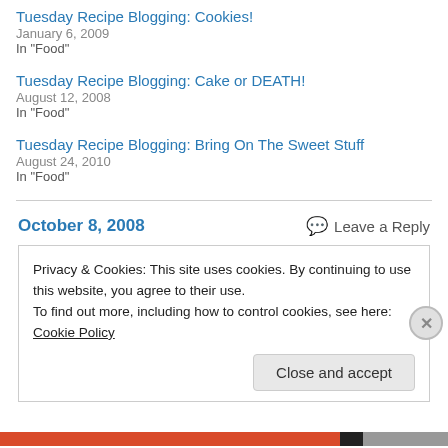Tuesday Recipe Blogging: Cookies!
January 6, 2009
In "Food"
Tuesday Recipe Blogging: Cake or DEATH!
August 12, 2008
In "Food"
Tuesday Recipe Blogging: Bring On The Sweet Stuff
August 24, 2010
In "Food"
October 8, 2008
Leave a Reply
Privacy & Cookies: This site uses cookies. By continuing to use this website, you agree to their use.
To find out more, including how to control cookies, see here: Cookie Policy
Close and accept